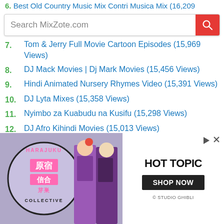6. Best Old Country Music Mix Contri Musica Mix (16,209
[Figure (screenshot): Search bar for MixZote.com with red search button]
7. Tom & Jerry Full Movie Cartoon Episodes (15,969 Views)
8. DJ Mack Movies | Dj Mark Movies (15,456 Views)
9. Hindi Animated Nursery Rhymes Video (15,391 Views)
10. DJ Lyta Mixes (15,358 Views)
11. Nyimbo za Kuabudu na Kusifu (15,298 Views)
12. DJ Afro Kihindi Movies (15,013 Views)
13. Nonstop Romantic Love English Songs Remix (14,853 Views)
14. Vinaya Vidheya Rama Full Movie in Hindi Dubbed (14,828 Views)
New 4k Ultra HD Hindi Full Songs (14,791 Views)
[Figure (photo): Hot Topic advertisement banner featuring Harajuku Collective branding with anime-style figures and Shop Now button]